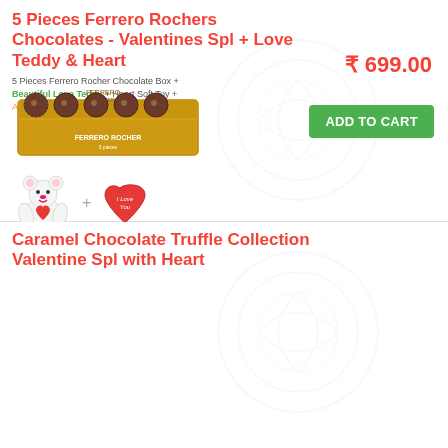5 Pieces Ferrero Rochers Chocolates - Valentines Spl + Love Teddy & Heart
5 Pieces Ferrero Rocher Chocolate Box + Beautiful Love Teddy + Heart Soft Toy + Archies Card + Gift Wrapped
[Figure (photo): Ferrero Rocher chocolate box with 5 pieces, a white teddy bear holding a red heart, and a red heart pillow with 'I Love You' text]
₹ 699.00
ADD TO CART
Caramel Chocolate Truffle Collection Valentine Spl with Heart
12 Caramel Chocolate Collection 7 Amazing Varieties of Caramel Collection Heart Shaped Soft Toy + Gift Pack
[Figure (photo): Caramel chocolate truffles collection showing various chocolate pieces with caramel filling, displayed with fruits and nuts]
₹ 699.00
ADD TO CART